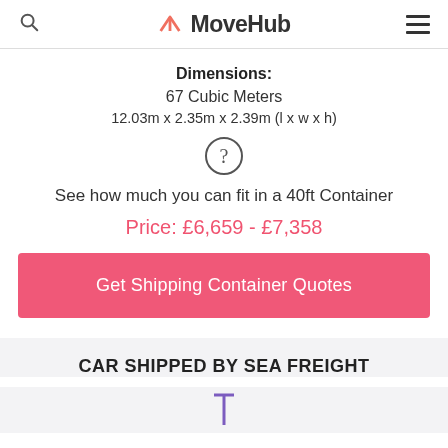MoveHub
Dimensions:
67 Cubic Meters
12.03m x 2.35m x 2.39m (l x w x h)
[Figure (illustration): Question mark icon inside a circle]
See how much you can fit in a 40ft Container
Price: £6,659 - £7,358
Get Shipping Container Quotes
CAR SHIPPED BY SEA FREIGHT
[Figure (illustration): Car/freight icon in purple]